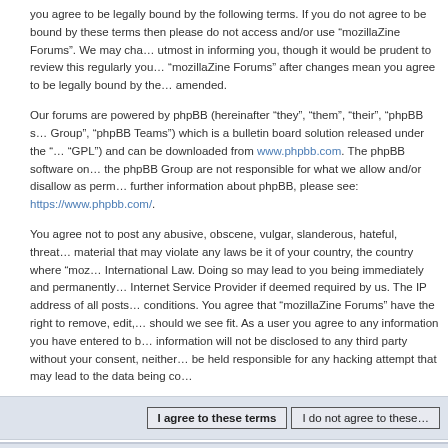you agree to be legally bound by the following terms. If you do not agree to be bound by these terms then please do not access and/or use “mozillaZine Forums”. We may change these at our utmost in informing you, though it would be prudent to review this regularly yourself as your continued usage of “mozillaZine Forums” after changes mean you agree to be legally bound by these terms as they are amended.
Our forums are powered by phpBB (hereinafter “they”, “them”, “their”, “phpBB software”, “www.phpbb.com”, “phpBB Group”, “phpBB Teams”) which is a bulletin board solution released under the “GNU General Public License v2” (“GPL”) and can be downloaded from www.phpbb.com. The phpBB software only facilitates internet based discussions; phpBB Group are not responsible for what we allow and/or disallow as permissible content and/or conduct. For further information about phpBB, please see: https://www.phpbb.com/.
You agree not to post any abusive, obscene, vulgar, slanderous, hateful, threatening, sexually-orientated or any other material that may violate any laws be it of your country, the country where “mozillaZine Forums” is hosted or International Law. Doing so may lead to you being immediately and permanently banned, with notification of your Internet Service Provider if deemed required by us. The IP address of all posts are recorded to aid in enforcing these conditions. You agree that “mozillaZine Forums” have the right to remove, edit, move or close any topic at any time should we see fit. As a user you agree to any information you have entered to being stored in a database. While this information will not be disclosed to any third party without your consent, neither “mozillaZine Forums” nor phpBB shall be held responsible for any hacking attempt that may lead to the data being compromised.
I agree to these terms | I do not agree to these terms
Board index